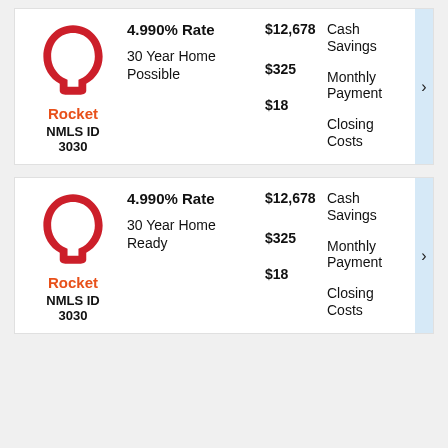[Figure (logo): Rocket Mortgage logo - red horseshoe shape]
Rocket
NMLS ID 3030
4.990% Rate
30 Year Home Possible
$12,678
$325
$18
Cash Savings
Monthly Payment
Closing Costs
[Figure (logo): Rocket Mortgage logo - red horseshoe shape]
Rocket
NMLS ID 3030
4.990% Rate
30 Year Home Ready
$12,678
$325
$18
Cash Savings
Monthly Payment
Closing Costs